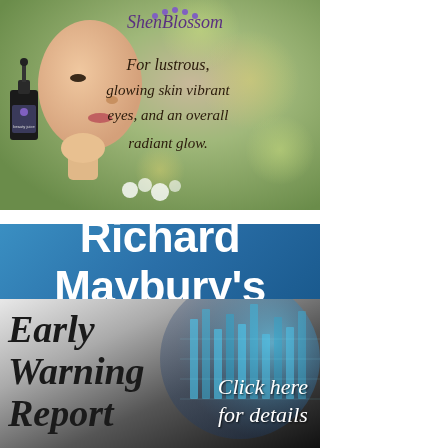[Figure (illustration): ShenBlossom beauty product advertisement showing a woman's face profile, a small dark bottle with dropper, flowers, and cursive text reading 'For lustrous, glowing skin vibrant eyes, and an overall radiant glow.']
[Figure (illustration): Richard Maybury's Early Warning Report advertisement. Blue banner at top with white bold text 'Richard Maybury's', dark lower section showing 'Early Warning Report' in bold serif italic and 'Click here for details' in italic white text, with a blue digital/financial background image.]